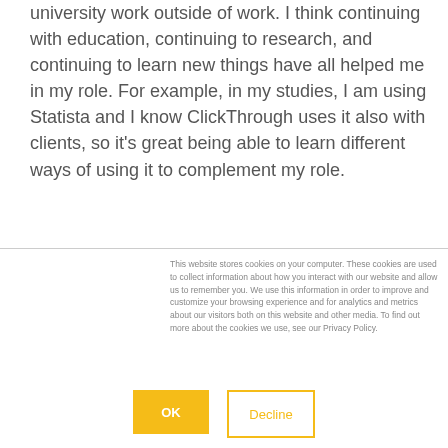university work outside of work. I think continuing with education, continuing to research, and continuing to learn new things have all helped me in my role. For example, in my studies, I am using Statista and I know ClickThrough uses it also with clients, so it’s great being able to learn different ways of using it to complement my role.
This website stores cookies on your computer. These cookies are used to collect information about how you interact with our website and allow us to remember you. We use this information in order to improve and customize your browsing experience and for analytics and metrics about our visitors both on this website and other media. To find out more about the cookies we use, see our Privacy Policy.